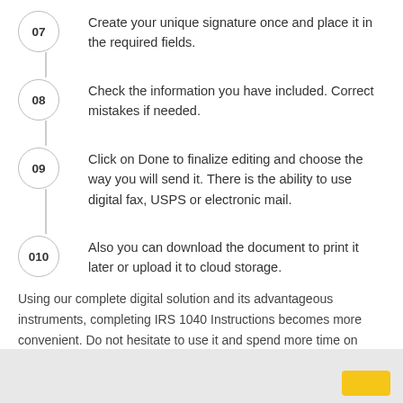07 Create your unique signature once and place it in the required fields.
08 Check the information you have included. Correct mistakes if needed.
09 Click on Done to finalize editing and choose the way you will send it. There is the ability to use digital fax, USPS or electronic mail.
010 Also you can download the document to print it later or upload it to cloud storage.
Using our complete digital solution and its advantageous instruments, completing IRS 1040 Instructions becomes more convenient. Do not hesitate to use it and spend more time on hobbies rather than on preparing files.